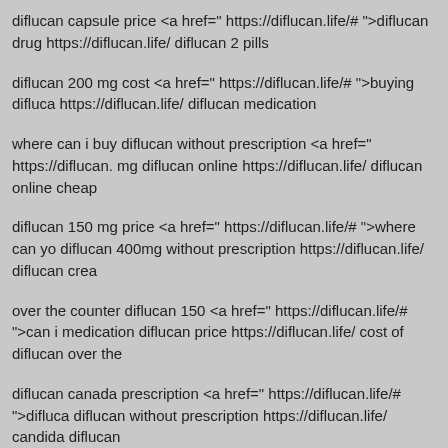diflucan capsule price <a href=" https://diflucan.life/# ">diflucan drug https://diflucan.life/ diflucan 2 pills
diflucan 200 mg cost <a href=" https://diflucan.life/# ">buying diflucan https://diflucan.life/ diflucan medication
where can i buy diflucan without prescription <a href=" https://diflucan.life/# mg diflucan online https://diflucan.life/ diflucan online cheap
diflucan 150 mg price <a href=" https://diflucan.life/# ">where can yo diflucan 400mg without prescription https://diflucan.life/ diflucan crea
over the counter diflucan 150 <a href=" https://diflucan.life/# ">can i medication diflucan price https://diflucan.life/ cost of diflucan over the
diflucan canada prescription <a href=" https://diflucan.life/# ">diflucan without prescription https://diflucan.life/ candida diflucan
diflucan singapore <a href=" https://diflucan.life/# ">diflucan tablet pr https://diflucan.life/ diflucan otc canada
diflucan best price <a href=" https://diflucan.life/# ">diflucan otc</a> https://diflucan.life/ diflucan 150 tab
If some one wants to be updated with most recent technologies ther